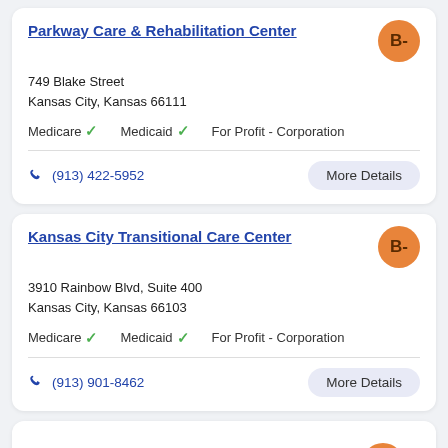Parkway Care & Rehabilitation Center
B-
749 Blake Street
Kansas City, Kansas 66111
Medicare ✓   Medicaid ✓   For Profit - Corporation
(913) 422-5952
More Details
Kansas City Transitional Care Center
B-
3910 Rainbow Blvd, Suite 400
Kansas City, Kansas 66103
Medicare ✓   Medicaid ✓   For Profit - Corporation
(913) 901-8462
More Details